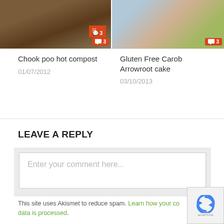[Figure (photo): Photo of soil/compost (dark earth, brown tones) with a red comment badge showing '3']
[Figure (photo): Photo of a decorated cake with blue frosting, strawberries and green leaves, with a red comment badge showing '3']
Chook poo hot compost
01/07/2012
Gluten Free Carob Arrowroot cake
03/10/2013
LEAVE A REPLY
Enter your comment here...
This site uses Akismet to reduce spam. Learn how your comment data is processed.